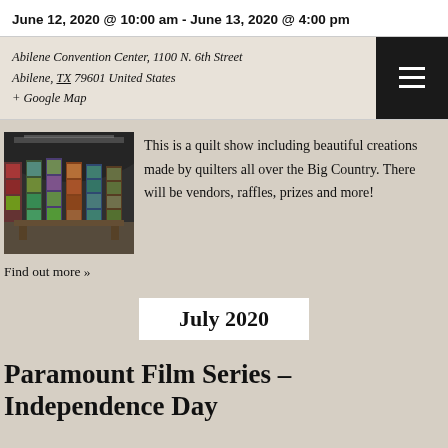June 12, 2020 @ 10:00 am - June 13, 2020 @ 4:00 pm
Abilene Convention Center, 1100 N. 6th Street
Abilene, TX 79601 United States
+ Google Map
[Figure (photo): Interior of a convention center with quilts displayed on partitioned stands]
This is a quilt show including beautiful creations made by quilters all over the Big Country. There will be vendors, raffles, prizes and more!
Find out more »
July 2020
Paramount Film Series – Independence Day